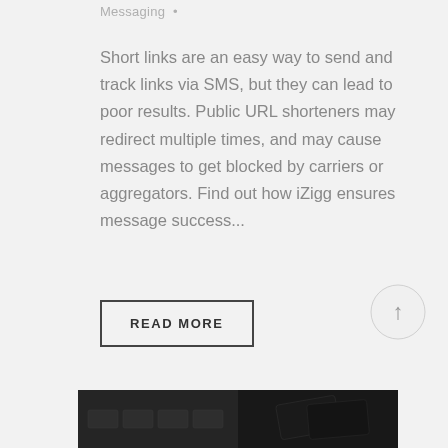Messaging •
Short links are an easy way to send and track links via SMS, but they can lead to poor results. Public URL shorteners may redirect multiple times, and may cause messages to get blocked by carriers or aggregators. Find out how iZigg ensures message success...
READ MORE
[Figure (photo): Dark background image showing a keyboard and credit cards at the bottom of the page]